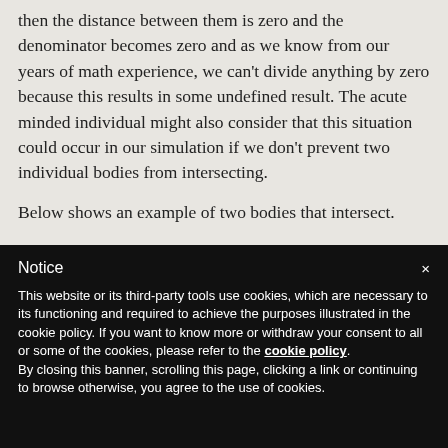because if two bodies were the same (that is, v = y) then the distance between them is zero and the denominator becomes zero and as we know from our years of math experience, we can't divide anything by zero because this results in some undefined result. The acute minded individual might also consider that this situation could occur in our simulation if we don't prevent two individual bodies from intersecting.
Below shows an example of two bodies that intersect.
Notice
×
This website or its third-party tools use cookies, which are necessary to its functioning and required to achieve the purposes illustrated in the cookie policy. If you want to know more or withdraw your consent to all or some of the cookies, please refer to the cookie policy.
By closing this banner, scrolling this page, clicking a link or continuing to browse otherwise, you agree to the use of cookies.